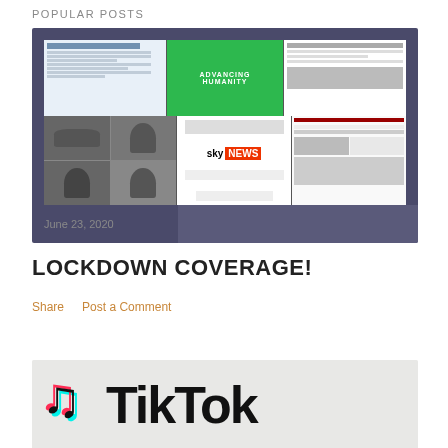POPULAR POSTS
[Figure (screenshot): Collage of news website screenshots including Sky NEWS logo, various articles and photos of people and a car]
June 23, 2020
LOCKDOWN COVERAGE!
Share    Post a Comment
[Figure (photo): Partial view of TikTok logo on a textured white surface, showing the TikTok symbol and partial text 'TikTok']